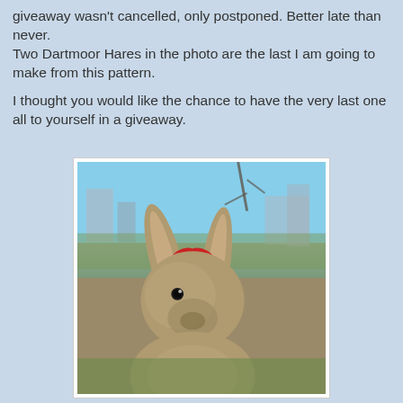giveaway wasn't cancelled, only postponed. Better late than never.
Two Dartmoor Hares in the photo are the last I am going to make from this pattern.

I thought you would like the chance to have the very last one all to yourself in a giveaway.
[Figure (photo): Close-up photo of a handmade stuffed Dartmoor Hare toy with long floppy ears and a red polka-dot bow ribbon, photographed outdoors against a blue sky background.]